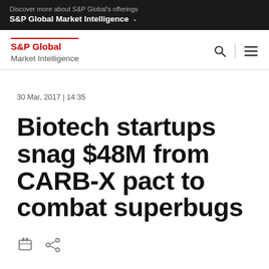Discover more about S&P Global's offerings
S&P Global Market Intelligence
S&P Global Market Intelligence
30 Mar, 2017 | 14:35
Biotech startups snag $48M from CARB-X pact to combat superbugs